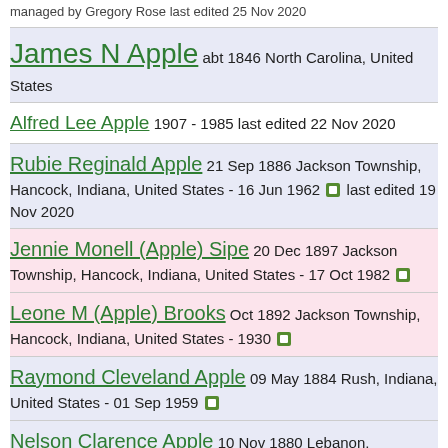managed by Gregory Rose last edited 25 Nov 2020
James N Apple abt 1846 North Carolina, United States
Alfred Lee Apple 1907 - 1985 last edited 22 Nov 2020
Rubie Reginald Apple 21 Sep 1886 Jackson Township, Hancock, Indiana, United States - 16 Jun 1962 [icon] last edited 19 Nov 2020
Jennie Monell (Apple) Sipe 20 Dec 1897 Jackson Township, Hancock, Indiana, United States - 17 Oct 1982 [icon]
Leone M (Apple) Brooks Oct 1892 Jackson Township, Hancock, Indiana, United States - 1930 [icon]
Raymond Cleveland Apple 09 May 1884 Rush, Indiana, United States - 01 Sep 1959 [icon]
Nelson Clarence Apple 10 Nov 1880 Lebanon,